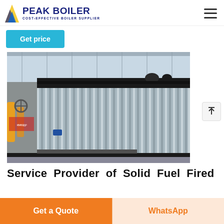[Figure (logo): Peak Boiler logo with yellow/blue triangular icon and company name 'PEAK BOILER' with tagline 'COST-EFFECTIVE BOILER SUPPLIER']
Get price
[Figure (photo): Industrial boiler with corrugated metal casing inside a large factory warehouse. The boiler is large, silver/grey, with vertical ridges. Various pipes and equipment visible in background.]
Service Provider of Solid Fuel Fired
Get a Quote
WhatsApp